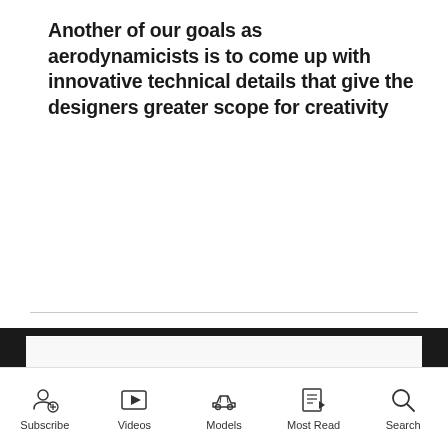Another of our goals as aerodynamicists is to come up with innovative technical details that give the designers greater scope for creativity
[Figure (photo): A person working on a red car model displayed on a large screen in a dark presentation room. The car body is shown in bright red with white/grey highlights showing the aerodynamic design.]
Subscribe  Videos  Models  Most Read  Search